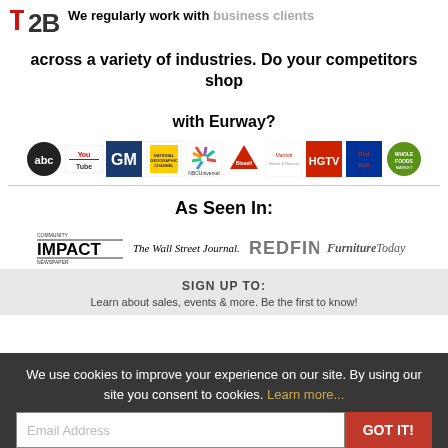[Figure (logo): t2B logo - stylized letter t in red and 2B text]
We regularly work with business clients across a variety of industries. Do your competitors shop with Eurway?
[Figure (infographic): Row of brand logos: ABC, YouTube, GM, National Geographic, NBC Universal, Bissell, Marriott, HGTV, Red Bull, Whole Foods]
As Seen In:
[Figure (infographic): Row of media logos: Community Impact Newspaper, The Wall Street Journal, Redfin, Furniture Today]
SIGN UP TO:
Learn about sales, events & more. Be the first to know!
We use cookies to improve your experience on our site. By using our site you consent to cookies. Learn more...
GOT IT!